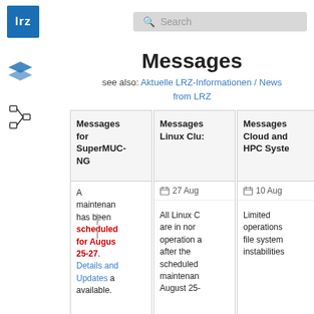lrz [logo] | Search
Messages
see also: Aktuelle LRZ-Informationen / News from LRZ
Messages for SuperMUC-NG
A maintenance has been scheduled for August 25-27. Details and Updates are available.
Messages Linux Cluster
27 Aug
All Linux Cluster are in normal operation after the scheduled maintenance August 25-
Messages Cloud and HPC Systems
10 Aug
Limited operations file system instabilities